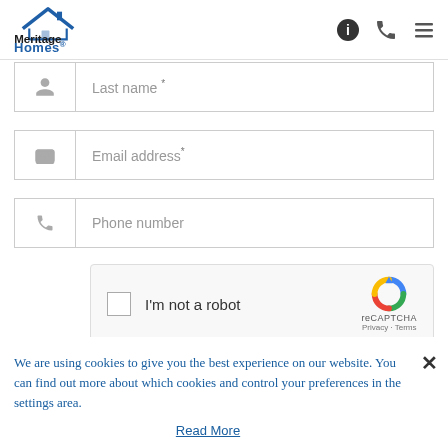[Figure (logo): Meritage Homes logo with house icon above text]
Last name *
Email address *
Phone number
[Figure (infographic): reCAPTCHA widget with checkbox, I'm not a robot text, and reCAPTCHA logo with Privacy - Terms links]
We are using cookies to give you the best experience on our website. You can find out more about which cookies and control your preferences in the settings area.
Read More